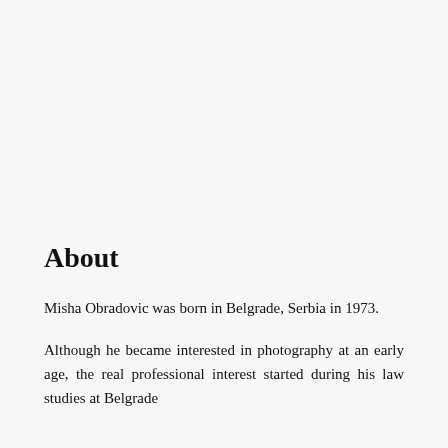About
Misha Obradovic was born in Belgrade, Serbia in 1973.
Although he became interested in photography at an early age, the real professional interest started during his law studies at Belgrade